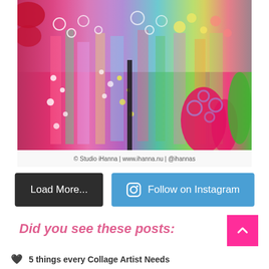[Figure (photo): A colorful art journal spread open, filled with vibrant abstract patterns, circles, stripes, and floral designs in pink, green, blue, purple, and yellow. The bottom of the image shows a watermark: © Studio iHanna | www.ihanna.nu | @ihannas]
Load More...
Follow on Instagram
Did you see these posts:
5 things every Collage Artist Needs